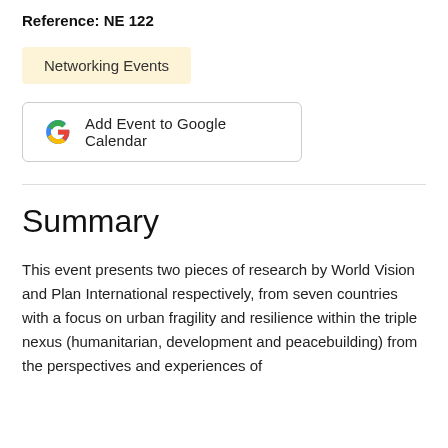Reference: NE 122
Networking Events
[Figure (other): Add Event to Google Calendar button with Google G logo]
Summary
This event presents two pieces of research by World Vision and Plan International respectively, from seven countries with a focus on urban fragility and resilience within the triple nexus (humanitarian, development and peacebuilding) from the perspectives and experiences of